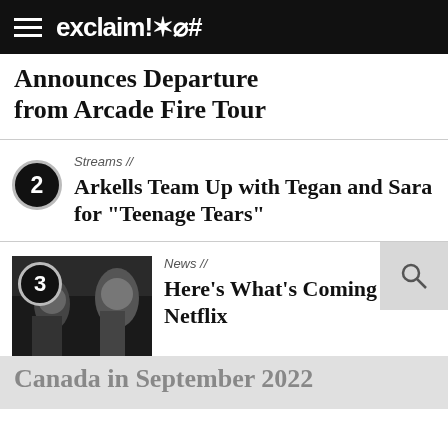exclaim!✶⌀#
Announces Departure from Arcade Fire Tour
Streams //
Arkells Team Up with Tegan and Sara for "Teenage Tears"
News //
Here's What's Coming to Netflix Canada in September 2022